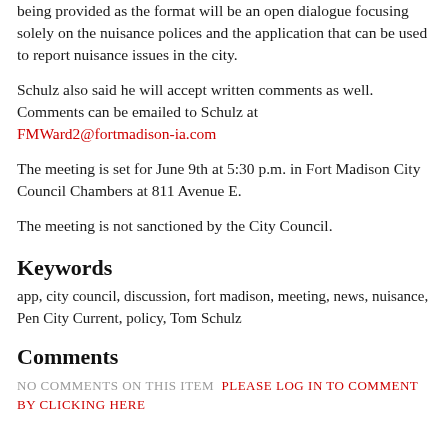being provided as the format will be an open dialogue focusing solely on the nuisance polices and the application that can be used to report nuisance issues in the city.
Schulz also said he will accept written comments as well. Comments can be emailed to Schulz at FMWard2@fortmadison-ia.com
The meeting is set for June 9th at 5:30 p.m. in Fort Madison City Council Chambers at 811 Avenue E.
The meeting is not sanctioned by the City Council.
Keywords
app, city council, discussion, fort madison, meeting, news, nuisance, Pen City Current, policy, Tom Schulz
Comments
NO COMMENTS ON THIS ITEM   PLEASE LOG IN TO COMMENT BY CLICKING HERE